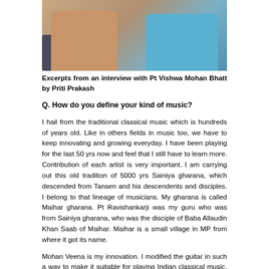[Figure (photo): Two people seated in chairs having an interview conversation, one wearing light pink/salmon and one wearing blue]
Excerpts from an interview with Pt Vishwa Mohan Bhatt by Priti Prakash
Q. How do you define your kind of music?
I hail from the traditional classical music which is hundreds of years old. Like in others fields in music too, we have to keep innovating and growing everyday. I have been playing for the last 50 yrs now and feel that I still have to learn more. Contribution of each artist is very important. I am carrying out this old tradition of 5000 yrs Sainiya gharana, which descended from Tansen and his descendents and disciples. I belong to that lineage of musicians. My gharana is called Maihar gharana. Pt Ravishankarji was my guru who was from Sainiya gharana, who was the disciple of Baba Allaudin Khan Saab of Maihar. Maihar is a small village in MP from where it got its name.
Mohan Veena is my innovation. I modified the guitar in such a way to make it suitable for playing Indian classical music. It integrates